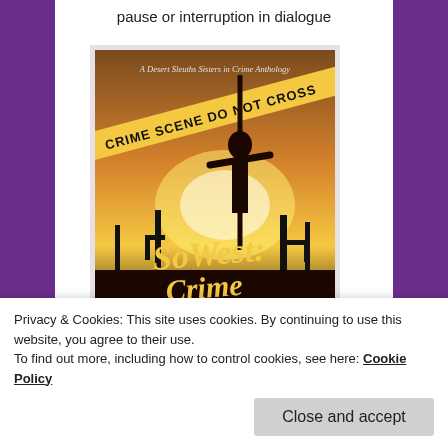pause or interruption in dialogue
[Figure (photo): Book cover of 'SoWest: Crime Time', A Desert Sleuths Sisters in Crime Anthology. Features a silhouette of a person against a dramatic orange/yellow desert sunset with saguaro cacti. Crime scene tape reads 'CRIME SCENE DO NOT CROSS' across the top. Title text in large gold script at the bottom.]
Privacy & Cookies: This site uses cookies. By continuing to use this website, you agree to their use.
To find out more, including how to control cookies, see here: Cookie Policy
Close and accept